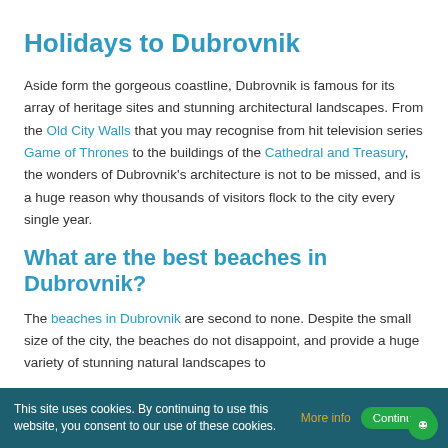Holidays to Dubrovnik
Aside form the gorgeous coastline, Dubrovnik is famous for its array of heritage sites and stunning architectural landscapes. From the Old City Walls that you may recognise from hit television series Game of Thrones to the buildings of the Cathedral and Treasury, the wonders of Dubrovnik's architecture is not to be missed, and is a huge reason why thousands of visitors flock to the city every single year.
What are the best beaches in Dubrovnik?
The beaches in Dubrovnik are second to none. Despite the small size of the city, the beaches do not disappoint, and provide a huge variety of stunning natural landscapes to
This site uses cookies. By continuing to use this website, you consent to our use of these cookies. More info Continue